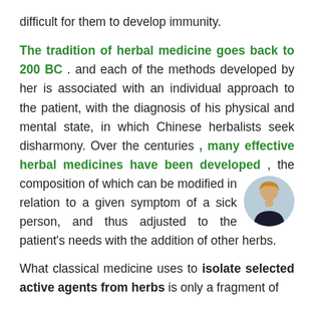difficult for them to develop immunity.
The tradition of herbal medicine goes back to 200 BC . and each of the methods developed by her is associated with an individual approach to the patient, with the diagnosis of his physical and mental state, in which Chinese herbalists seek disharmony. Over the centuries , many effective herbal medicines have been developed , the composition of which can be modified in relation to a given symptom of a sick person, and thus adjusted to the patient's needs with the addition of other herbs.
What classical medicine uses to isolate selected active agents from herbs is only a fragment of